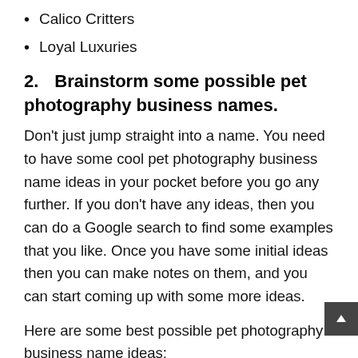Calico Critters
Loyal Luxuries
2.    Brainstorm some possible pet photography business names.
Don't just jump straight into a name. You need to have some cool pet photography business name ideas in your pocket before you go any further. If you don't have any ideas, then you can do a Google search to find some examples that you like. Once you have some initial ideas then you can make notes on them, and you can start coming up with some more ideas.
Here are some best possible pet photography business name ideas: